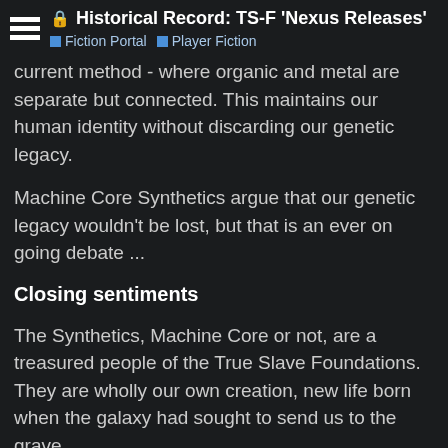Historical Record: TS-F 'Nexus Releases'
Fiction Portal  Player Fiction
current method - where organic and metal are separate but connected. This maintains our human identity without discarding our genetic legacy.
Machine Core Synthetics argue that our genetic legacy wouldn't be lost, but that is an ever on going debate ...
Closing sentiments
The Synthetics, Machine Core or not, are a treasured people of the True Slave Foundations. They are wholly our own creation, new life born when the galaxy had sought to send us to the grave.
I must admit, I am rather curious as to how the galaxy would respond these days if their existence would be unveiled. The Integrator Yeliana is greatly unsettled by